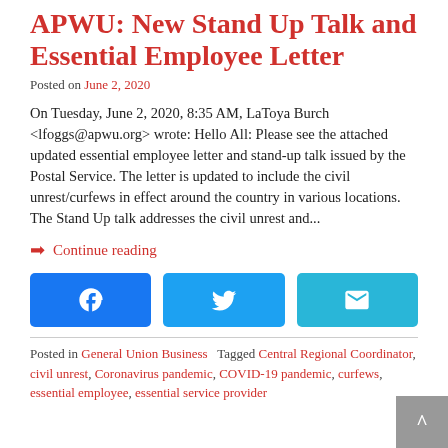APWU: New Stand Up Talk and Essential Employee Letter
Posted on June 2, 2020
On Tuesday, June 2, 2020, 8:35 AM, LaToya Burch <lfoggs@apwu.org> wrote: Hello All: Please see the attached updated essential employee letter and stand-up talk issued by the Postal Service. The letter is updated to include the civil unrest/curfews in effect around the country in various locations. The Stand Up talk addresses the civil unrest and...
➡ Continue reading
Posted in General Union Business   Tagged Central Regional Coordinator, civil unrest, Coronavirus pandemic, COVID-19 pandemic, curfews, essential employee, essential service provider